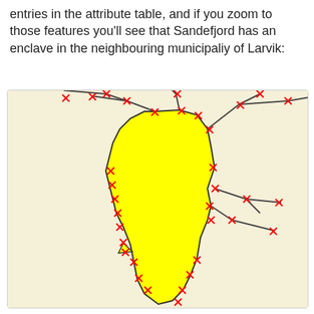entries in the attribute table, and if you zoom to those features you'll see that Sandefjord has an enclave in the neighbouring municipaliy of Larvik:
[Figure (map): A GIS map showing the Sandefjord municipality boundary (filled in yellow) with red X markers at vertices along the polygon edges, and dark lines representing roads or boundaries extending outward. A small yellow triangle (enclave) is visible on the lower-left portion of the main polygon. The background is a pale yellow/cream color representing the Larvik municipality area.]